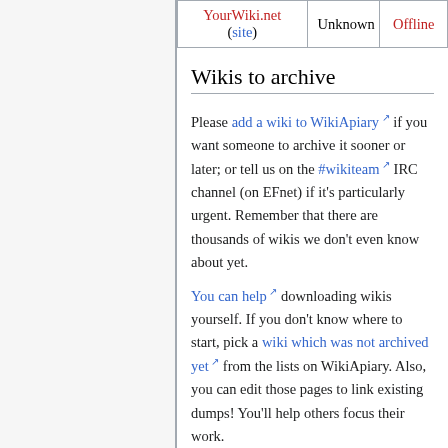|  | Unknown | Offline |
| --- | --- | --- |
| YourWiki.net (site) | Unknown | Offline |
Wikis to archive
Please add a wiki to WikiApiary if you want someone to archive it sooner or later; or tell us on the #wikiteam IRC channel (on EFnet) if it's particularly urgent. Remember that there are thousands of wikis we don't even know about yet.
You can help downloading wikis yourself. If you don't know where to start, pick a wiki which was not archived yet from the lists on WikiApiary. Also, you can edit those pages to link existing dumps! You'll help others focus their work.